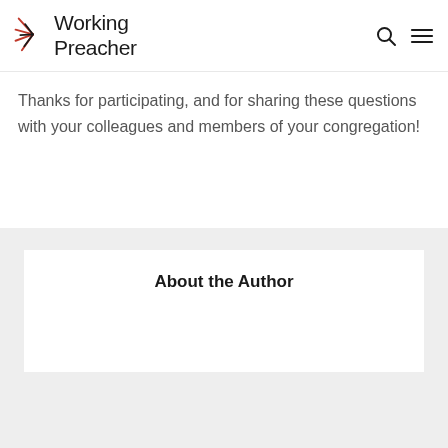Working Preacher
Thanks for participating, and for sharing these questions with your colleagues and members of your congregation!
About the Author